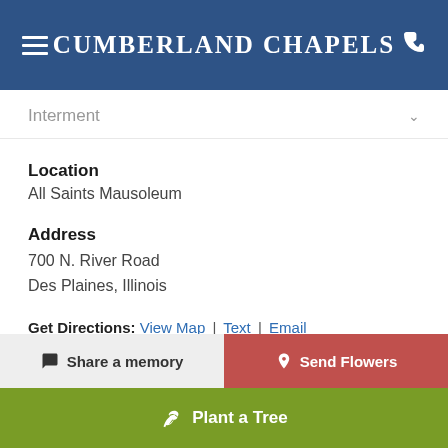Cumberland Chapels
Interment
Location
All Saints Mausoleum
Address
700 N. River Road
Des Plaines, Illinois
Get Directions: View Map | Text | Email
Photo Album
Share a memory
Send Flowers
Plant a Tree